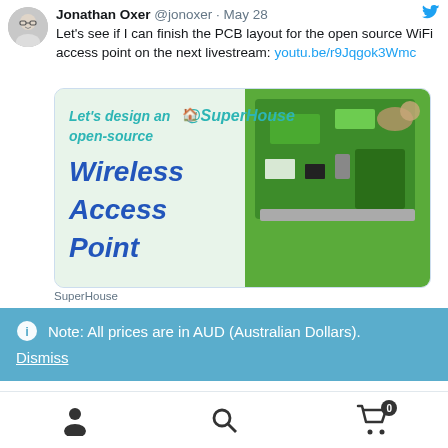Jonathan Oxer @jonoxer · May 28
Let's see if I can finish the PCB layout for the open source WiFi access point on the next livestream: youtu.be/r9Jqgok3Wmc
[Figure (screenshot): Tweet card showing 'Let's design an open-source Wireless Access Point @SuperHouse' with a green PCB board and a squirrel image]
SuperHouse
Note: All prices are in AUD (Australian Dollars).
Dismiss